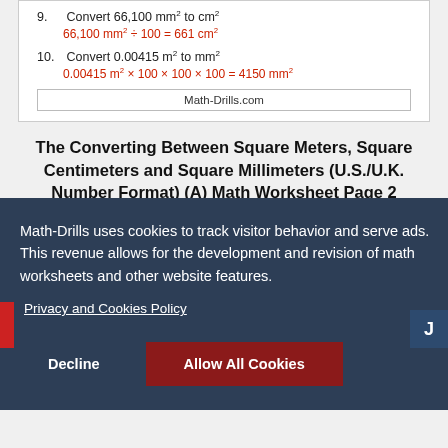9. Convert 66,100 mm² to cm²
10. Convert 0.00415 m² to mm²
Math-Drills.com
The Converting Between Square Meters, Square Centimeters and Square Millimeters (U.S./U.K. Number Format) (A) Math Worksheet Page 2
Math-Drills uses cookies to track visitor behavior and serve ads. This revenue allows for the development and revision of math worksheets and other website features.
Privacy and Cookies Policy
Decline
Allow All Cookies